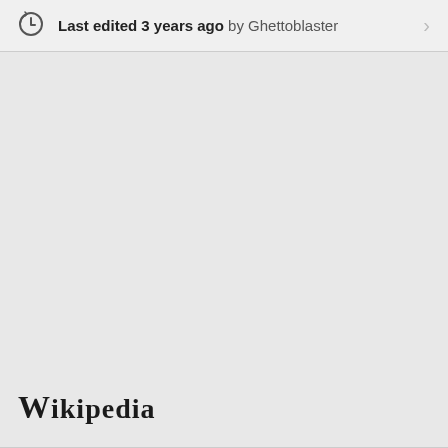Last edited 3 years ago by Ghettoblaster
Wikipedia